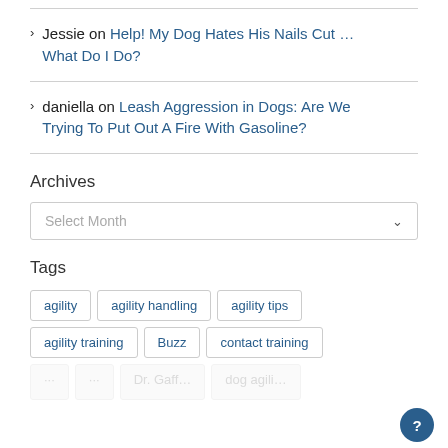Jessie on Help! My Dog Hates His Nails Cut ... What Do I Do?
daniella on Leash Aggression in Dogs: Are We Trying To Put Out A Fire With Gasoline?
Archives
Select Month
Tags
agility
agility handling
agility tips
agility training
Buzz
contact training